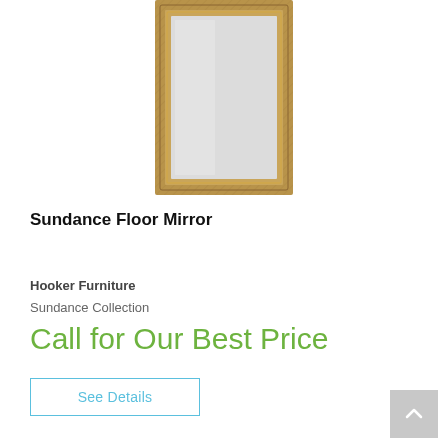[Figure (photo): A tall rectangular floor mirror with a woven or textured gold/bronze frame, shown against a white background. The mirror has a narrow decorative frame and a large reflective glass surface.]
Sundance Floor Mirror
Hooker Furniture
Sundance Collection
Call for Our Best Price
See Details